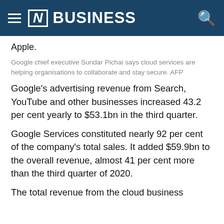[N] BUSINESS
Apple.
Google chief executive Sundar Pichai says cloud services are helping organisations to collaborate and stay secure. AFP
Google's advertising revenue from Search, YouTube and other businesses increased 43.2 per cent yearly to $53.1bn in the third quarter.
Google Services constituted nearly 92 per cent of the company's total sales. It added $59.9bn to the overall revenue, almost 41 per cent more than the third quarter of 2020.
The total revenue from the cloud business